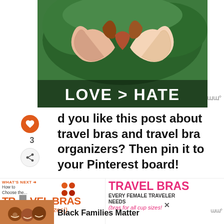[Figure (photo): Two hands from people of different skin tones forming a heart shape with fingers against a green foliage background, with bold white text overlay reading LOVE > HATE]
did you like this post about travel bras and travel bra organizers? Then pin it to your Pinterest board!
[Figure (infographic): Advertisement thumbnail: WHAT'S NEXT arrow, How to Choose the... TRAVEL BRAS (bras for all cup sizes!) with colorful suitcase icon]
[Figure (infographic): Advertisement: TRAVEL BRAS EVERY FEMALE TRAVELER NEEDS (bras for all cup sizes!)]
[Figure (photo): Photo of smiling Black family with children]
Black Families Matter